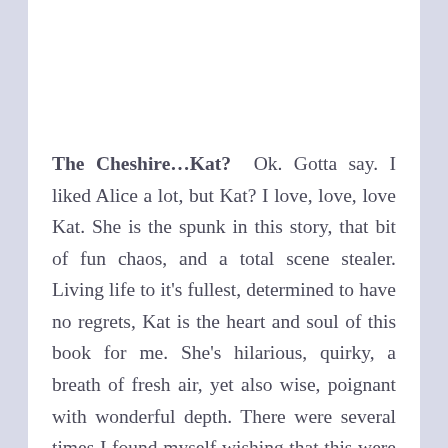The Cheshire…Kat? Ok. Gotta say. I liked Alice a lot, but Kat? I love, love, love Kat. She is the spunk in this story, that bit of fun chaos, and a total scene stealer. Living life to it's fullest, determined to have no regrets, Kat is the heart and soul of this book for me. She's hilarious, quirky, a breath of fresh air, yet also wise, poignant with wonderful depth. There were several times I found myself wishing that this were her story instead of Alice's… I know, I know. Bad Dani. But I